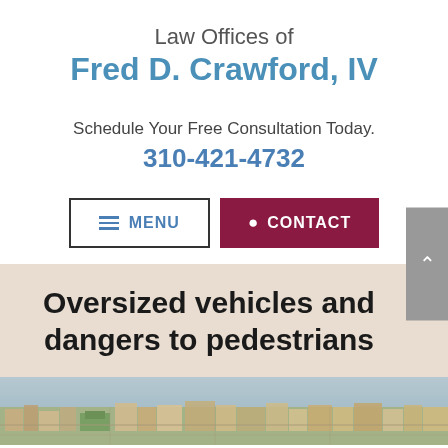Law Offices of Fred D. Crawford, IV
Schedule Your Free Consultation Today.
310-421-4732
MENU
CONTACT
Oversized vehicles and dangers to pedestrians
[Figure (photo): Aerial view of a suburban neighborhood with buildings, streets, and greenery.]